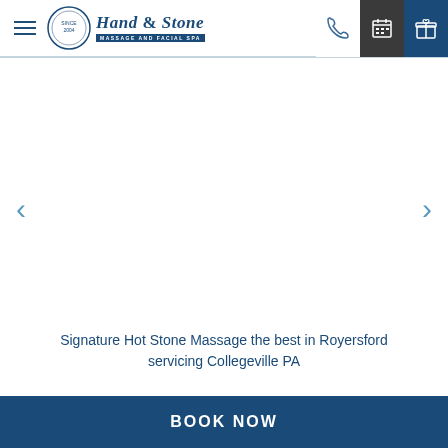Hand & Stone Massage and Facial Spa — navigation header with logo, phone, calendar, gift icons
[Figure (screenshot): Carousel image area (blank/white) with left and right navigation arrows]
Signature Hot Stone Massage the best in Royersford servicing Collegeville PA
BOOK NOW